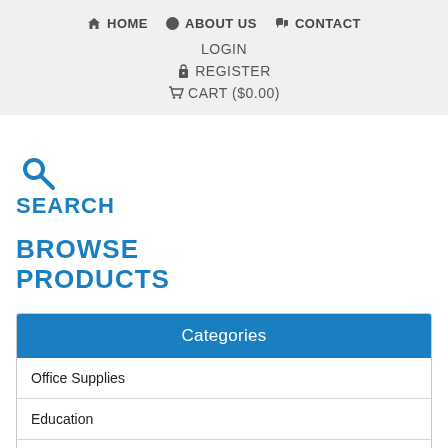HOME  ABOUT US  CONTACT  LOGIN  REGISTER  CART ($0.00)
SEARCH
BROWSE PRODUCTS
| Categories |
| --- |
| Office Supplies |
| Education |
| Facilities Supplies |